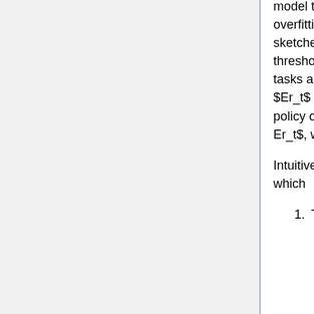model to smoothly scale up from easy tasks to more difficult ones without overfitting. Initially, the model is presented with tasks associated with short sketches. Once average reward on all these tasks reaches a certain threshold, the length limit is incremented. It is assumed that rewards across tasks are normalized with maximum achievable reward $0 < q_i < 1$ . Let $Er_t$ denote the empirical estimate of the expected reward for the current policy on task T. Then at each timestep, tasks are sampled in proportion $1-Er_t$, which by assumption must be positive.
Intuitively, the tasks that provide the strongest learning signal are those in which
1. The agent does not on average